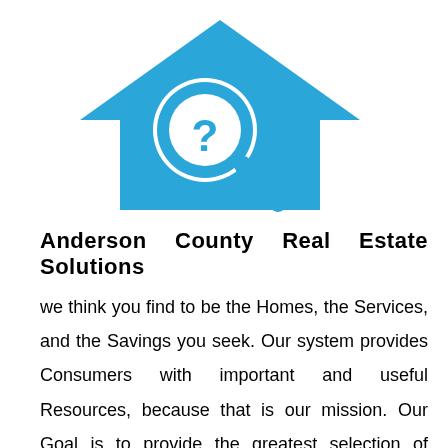[Figure (logo): Blue house icon with a magnifying glass containing a question mark, representing a real estate search service.]
Anderson County Real Estate Solutions
we think you find to be the Homes, the Services, and the Savings you seek. Our system provides Consumers with important and useful Resources, because that is our mission. Our Goal is to provide the greatest selection of Professional